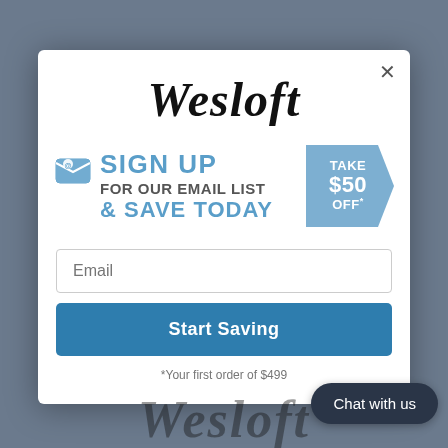[Figure (screenshot): Website popup modal for Wesloft brand with blurred background showing interior furniture images. Modal contains brand logo, email signup promotion offering $50 off, email input field, Start Saving button, fine print text, and a Chat with us button.]
Wesloft
SIGN UP FOR OUR EMAIL LIST & SAVE TODAY TAKE $50 OFF*
Email
Start Saving
*Your first order of $499
Chat with us